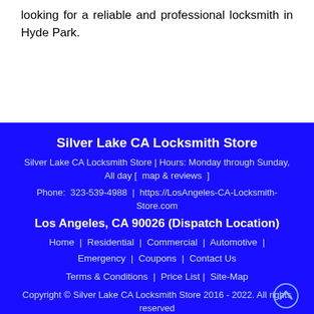looking for a reliable and professional locksmith in Hyde Park.
Silver Lake CA Locksmith Store
Silver Lake CA Locksmith Store | Hours: Monday through Sunday, All day [  map & reviews  ]
Phone:  323-539-4988  |  https://LosAngeles-CA-Locksmith-Store.com
Los Angeles, CA 90026 (Dispatch Location)
Home  |  Residential  |  Commercial  |  Automotive  |  Emergency  |  Coupons  |  Contact Us
Terms & Conditions  |  Price List |  Site-Map
Copyright © Silver Lake CA Locksmith Store 2016 - 2022. All rights reserved